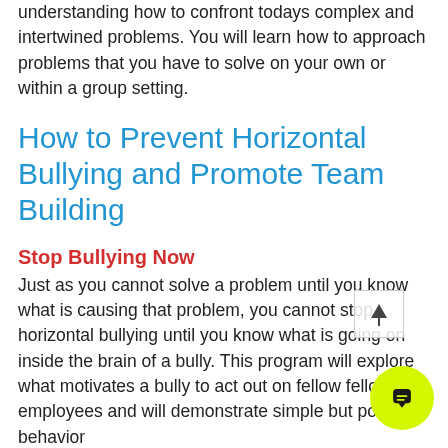understanding how to confront todays complex and intertwined problems. You will learn how to approach problems that you have to solve on your own or within a group setting.
How to Prevent Horizontal Bullying and Promote Team Building
Stop Bullying Now
Just as you cannot solve a problem until you know what is causing that problem, you cannot stop horizontal bullying until you know what is going on inside the brain of a bully. This program will explore what motivates a bully to act out on fellow fellow employees and will demonstrate simple but powerful behavior